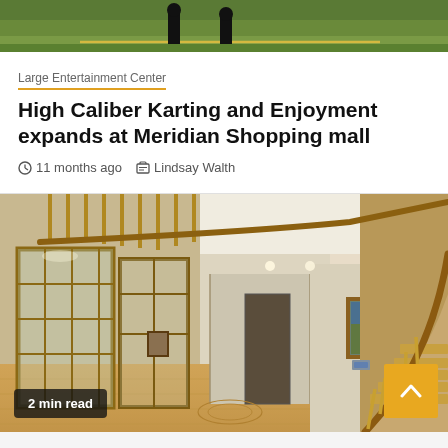[Figure (photo): Top strip showing partial outdoor scene with figures/silhouettes on grass]
Large Entertainment Center
High Caliber Karting and Enjoyment expands at Meridian Shopping mall
11 months ago  Lindsay Walth
[Figure (photo): Interior photo of a large home entryway with wood-framed glass doors on the left, a long hallway, a framed painting on the wall, and a curved wooden staircase with spindles on the right. Light hardwood floors throughout.]
2 min read